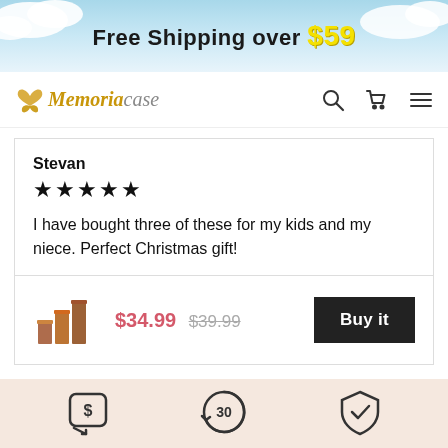[Figure (infographic): Blue sky banner with clouds and text 'Free Shipping over $59']
Memoriacase — navigation bar with search, cart, and menu icons
Stevan
★★★★★
I have bought three of these for my kids and my niece. Perfect Christmas gift!
$34.99  $39.99  Buy it